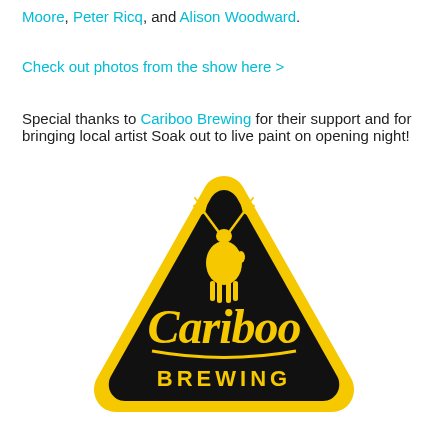Moore, Peter Ricq, and Alison Woodward.
Check out photos from the show here >
Special thanks to Cariboo Brewing for their support and for bringing local artist Soak out to live paint on opening night!
[Figure (logo): Cariboo Brewing logo: black rounded triangle shape with yellow border, yellow caribou/deer silhouette at top, cursive 'Cariboo' text and 'BREWING' text in yellow on black background.]